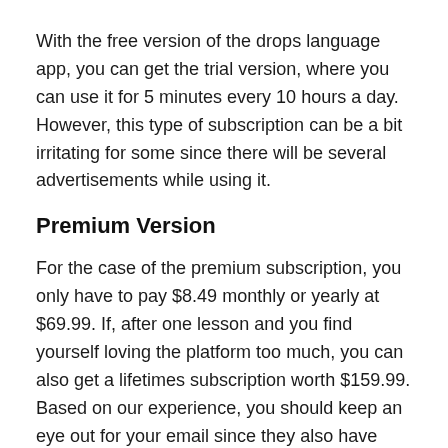With the free version of the drops language app, you can get the trial version, where you can use it for 5 minutes every 10 hours a day. However, this type of subscription can be a bit irritating for some since there will be several advertisements while using it.
Premium Version
For the case of the premium subscription, you only have to pay $8.49 monthly or yearly at $69.99. If, after one lesson and you find yourself loving the platform too much, you can also get a lifetimes subscription worth $159.99. Based on our experience, you should keep an eye out for your email since they also have tons of promotions and discount vouchers to entice premium users. We firmly believe that this type of subscription is good for intermediate learners who are truly keen on reviewing words with the goal of using